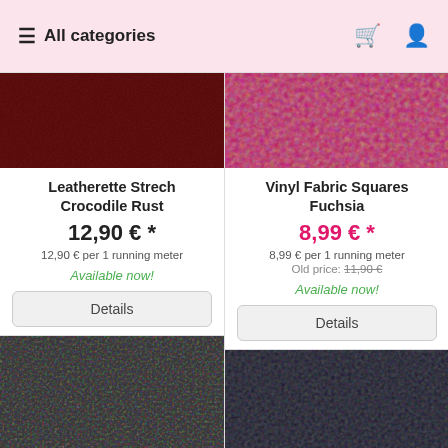≡ All categories
[Figure (photo): Leatherette stretch crocodile rust fabric swatch, dark red/brown textured appearance]
Leatherette Strech Crocodile Rust
12,90 € *
12,90 € per 1 running meter
Available now!
Details
[Figure (photo): Vinyl fabric squares fuchsia swatch, solid magenta/pink smooth appearance]
Vinyl Fabric Squares Fuchsia
8,99 € *
8,99 € per 1 running meter
Old price: 11,90 €
Available now!
Details
[Figure (photo): Dark gray fabric swatch, matte textile]
[Figure (photo): Dark navy/black fabric swatch]